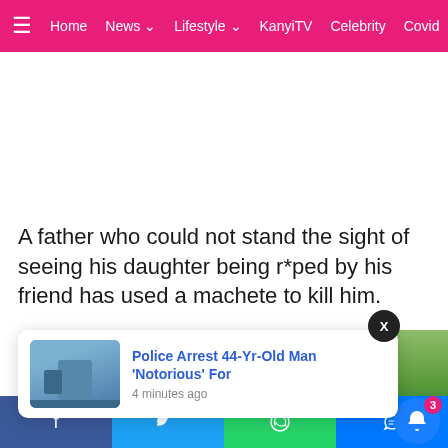Home  News  Lifestyle  KanyiTV  Celebrity  Covid
A father who could not stand the sight of seeing his daughter being r*ped by his friend has used a machete to kill him.
[Figure (screenshot): Notification popup showing article: 'Police Arrest 44-Yr-Old Man Notorious For' with timestamp '4 minutes ago' and thumbnail image]
[Figure (other): Social share bar with Facebook, Twitter, WhatsApp, and Messenger buttons at bottom of page. Notification bell icon with badge showing 3.]